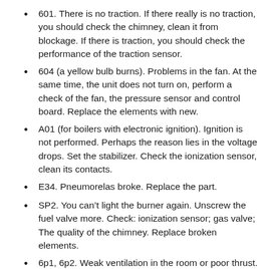601. There is no traction. If there really is no traction, you should check the chimney, clean it from blockage. If there is traction, you should check the performance of the traction sensor.
604 (a yellow bulb burns). Problems in the fan. At the same time, the unit does not turn on, perform a check of the fan, the pressure sensor and control board. Replace the elements with new.
A01 (for boilers with electronic ignition). Ignition is not performed. Perhaps the reason lies in the voltage drops. Set the stabilizer. Check the ionization sensor, clean its contacts.
E34. Pneumorelas broke. Replace the part.
SP2. You can't light the burner again. Unscrew the fuel valve more. Check: ionization sensor; gas valve; The quality of the chimney. Replace broken elements.
6p1, 6p2. Weak ventilation in the room or poor thrust. Check the passage of the chimney, ventilation quality, open the window. Conduct diagnostics of relay